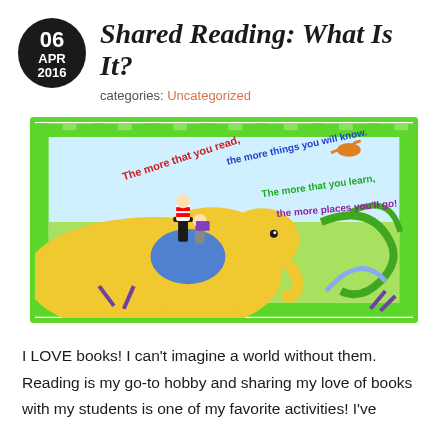06 APR 2016
Shared Reading: What Is It?
categories: Uncategorized
[Figure (illustration): Dr. Seuss illustration showing Horton the elephant with the Cat in the Hat and another character riding on top, surrounded by colorful Seussian landscape. Text reads: 'The more that you read, the more things you will know. The more that you learn, the more places you'll go!' The image has a bright green checkered border.]
I LOVE books!  I can't imagine a world without them.  Reading is my go-to hobby and sharing my love of books with my students is one of my favorite activities!  I've